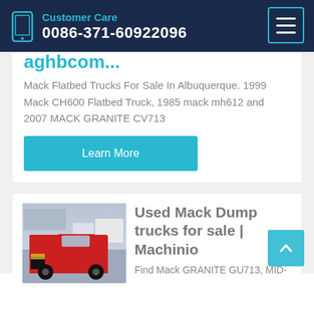Customer Care
0086-371-60922096
Mack Flatbed Trucks For Sale In Albuquerque. 1999 Mack CH600 Flatbed Truck, 1985 mack mh612 and 2007 MACK GRANITE CV713
Learn More
Used Mack Dump trucks for sale | Machinio
Find Mack GRANITE GU713, MID-